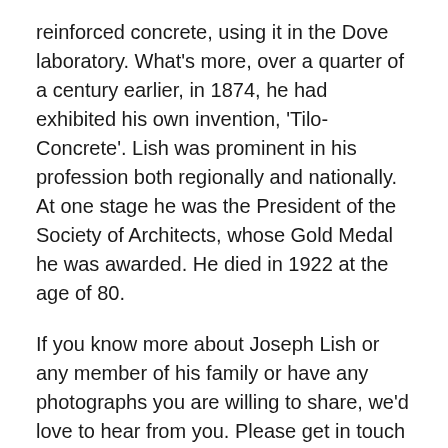reinforced concrete, using it in the Dove laboratory. What's more, over a quarter of a century earlier, in 1874, he had exhibited his own invention, 'Tilo-Concrete'. Lish was prominent in his profession both regionally and nationally. At one stage he was the President of the Society of Architects, whose Gold Medal he was awarded. He died in 1922 at the age of 80.
If you know more about Joseph Lish or any member of his family or have any photographs you are willing to share, we'd love to hear from you. Please get in touch either via the 'Reply' link just below the title of this article or by emailing chris.jackson@heatonhistorygroup.org
The marine engineer's family
By 1911, the Lish family had left Heaton and marine